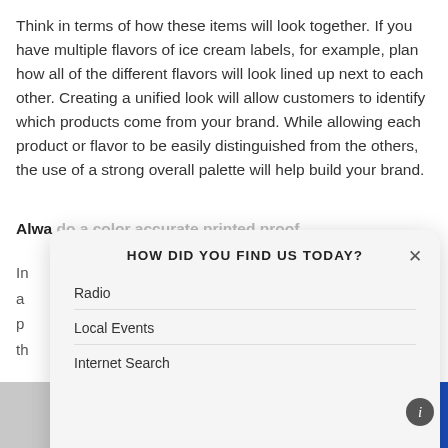Think in terms of how these items will look together. If you have multiple flavors of ice cream labels, for example, plan how all of the different flavors will look lined up next to each other. Creating a unified look will allow customers to identify which products come from your brand. While allowing each product or flavor to be easily distinguished from the others, the use of a strong overall palette will help build your brand.
Alwa   do a color accurate printed proof
[Figure (screenshot): A modal dialog popup overlaying the page content. Title: 'HOW DID YOU FIND US TODAY?' with an X close button. Options listed: Radio, Local Events, Internet Search. At the bottom, an input field labeled 'Other (please specify)' and a SUBMIT button. An info icon appears bottom right.]